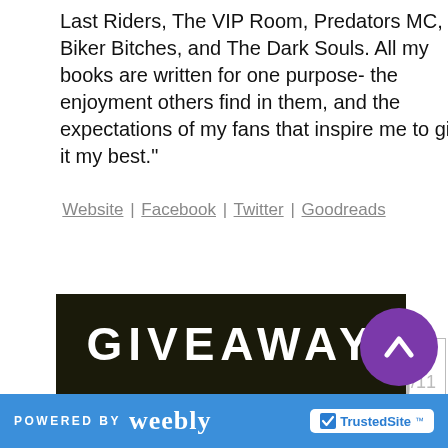Last Riders, The VIP Room, Predators MC, Biker Bitches, and The Dark Souls. All my books are written for one purpose- the enjoyment others find in them, and the expectations of my fans that inspire me to give it my best."
Website | Facebook | Twitter | Goodreads
| IT'S OVER! | 1 4 1 9 | 0/11 |
| --- | --- | --- |
$25 Amazon Gift Card, Signed print of Keeping What's His
[Figure (photo): GIVEAWAY banner image with text on dark background]
POWERED BY weebly | TrustedSite